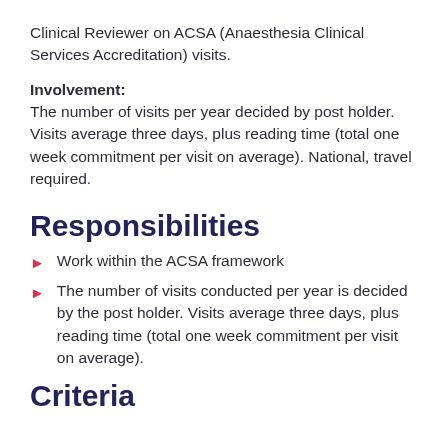Clinical Reviewer on ACSA (Anaesthesia Clinical Services Accreditation) visits.
Involvement:
The number of visits per year decided by post holder. Visits average three days, plus reading time (total one week commitment per visit on average). National, travel required.
Responsibilities
Work within the ACSA framework
The number of visits conducted per year is decided by the post holder. Visits average three days, plus reading time (total one week commitment per visit on average).
Criteria